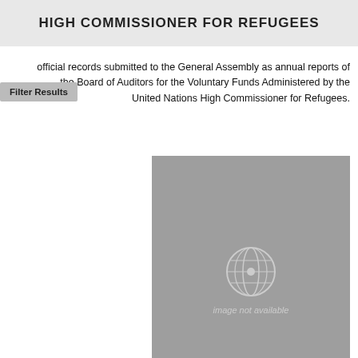HIGH COMMISSIONER FOR REFUGEES
official records submitted to the General Assembly as annual reports of the Board of Auditors for the Voluntary Funds Administered by the United Nations High Commissioner for Refugees.
[Figure (illustration): Gray placeholder cover image with UN logo emblem and text 'image not available']
Financial Report and Audited Financial Statements and Report of the Board of Auditors: Voluntary funds Administered by the United Nations High Commissioner for Refugees
Year Ended 31 December 2015
Series: Financial Report and Audited Financial